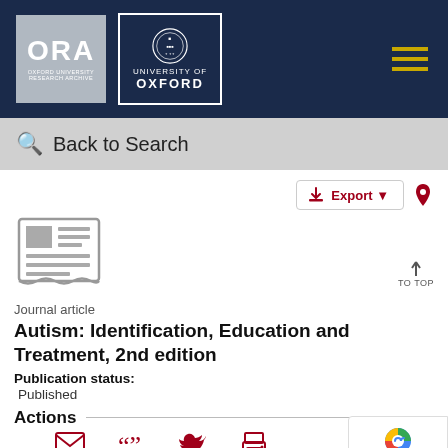[Figure (logo): ORA Oxford University Research Archive logo and University of Oxford logo on dark navy header bar with hamburger menu icon]
Back to Search
Export
[Figure (illustration): Journal article document icon - grey newspaper/article thumbnail]
Journal article
Autism: Identification, Education and Treatment, 2nd edition
Publication status:
Published
Actions
Email
Cite
Tweet
Print